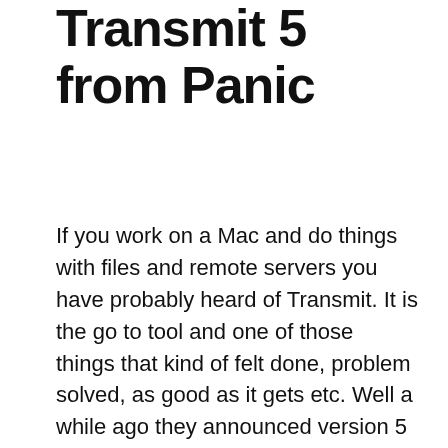Transmit 5 from Panic
If you work on a Mac and do things with files and remote servers you have probably heard of Transmit. It is the go to tool and one of those things that kind of felt done, problem solved, as good as it gets etc. Well a while ago they announced version 5 (the first new version in 7 years) I thought I would pass, hey I had everything I needed. Then yesterday when re-imaging a machine I needed Transmit and downloaded the trail version. After a few hours of use I updated to the full version. Somehow they took something that felt complete and